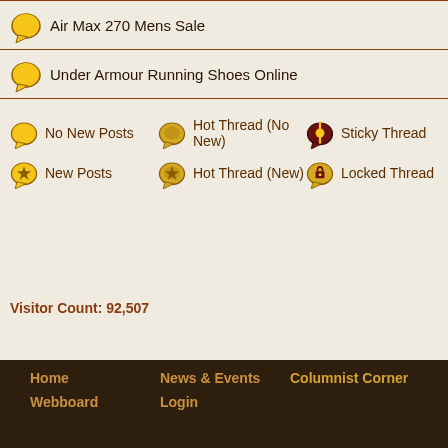Air Max 270 Mens Sale
Under Armour Running Shoes Online
No New Posts   Hot Thread (No New)   Sticky Thread
New Posts   Hot Thread (New)   Locked Thread
Visitor Count: 92,507
Home   News & Events   Columnist Corner   Webboard   Login